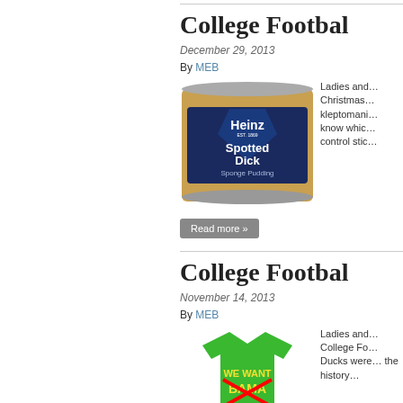College Footbal…
December 29, 2013
By MEB
[Figure (photo): A can of Heinz Spotted Dick Sponge Pudding]
Ladies and… Christmas… kleptomani… know whic… control stic…
Read more »
College Footbal…
November 14, 2013
By MEB
[Figure (photo): A green t-shirt with 'We Want Bama' text with Bama crossed out]
Ladies and… College Fo… Ducks were… the history…